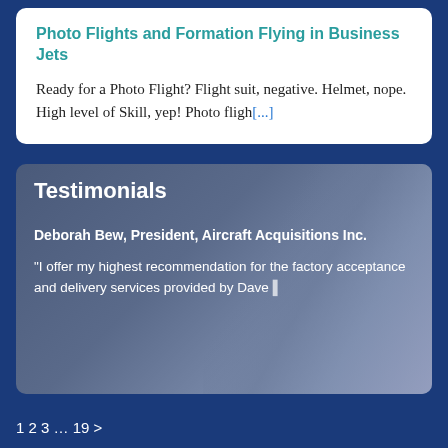Photo Flights and Formation Flying in Business Jets
Ready for a Photo Flight? Flight suit, negative. Helmet, nope. High level of Skill, yep! Photo fligh[...]
Testimonials
Deborah Bew, President, Aircraft Acquisitions Inc.
"I offer my highest recommendation for the factory acceptance and delivery services provided by Dave [...]
1 2 3 … 19 >